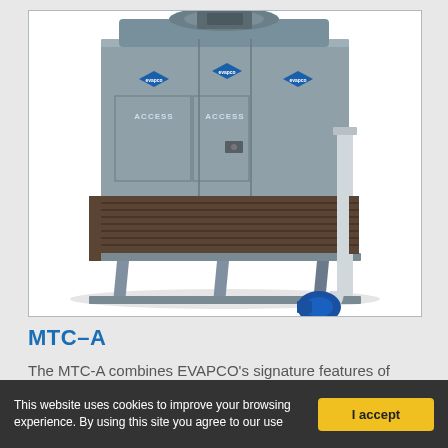[Figure (photo): Industrial cooling tower unit (MTC-A) by EVAPCO. Large grey metal box-shaped cooling tower with EVAPCO logos on panels labeled ACCESS, raised on four tapered legs, with a vertical white pipe and blue pump on the right side, and louvered heat exchange panels on lower sides. Top has rounded fan cowl.]
MTC–A
The MTC-A combines EVAPCO's signature features of easy
This website uses cookies to improve your browsing experience. By using this site you agree to our use